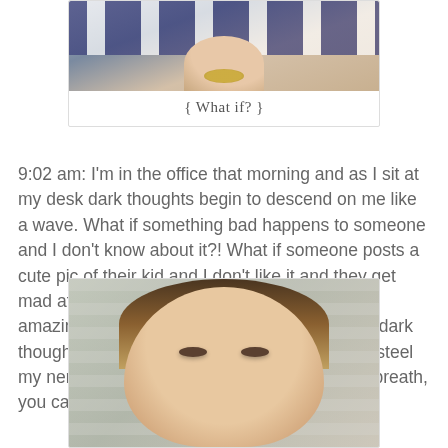[Figure (photo): Top portion of a photo showing a person in a blue and white striped top with a gold necklace/accessory, with a caption '{ What if? }' below the image inside a white card with border.]
{ What if? }
9:02 am: I'm in the office that morning and as I sit at my desk dark thoughts begin to descend on me like a wave. What if something bad happens to someone and I don't know about it?! What if someone posts a cute pic of their kid and I don't like it and they get mad at me?! What if One Kings Lane has an amazing sale that day and I miss it?! Did I say dark thoughts? Well, more like off-white thoughts. I steel my nerves and don't pick up my phone. Deep breath, you can do this!
[Figure (photo): A close-up selfie/photo of a woman with blonde/brown hair and eye shadow, taken outdoors against a wooden fence background.]